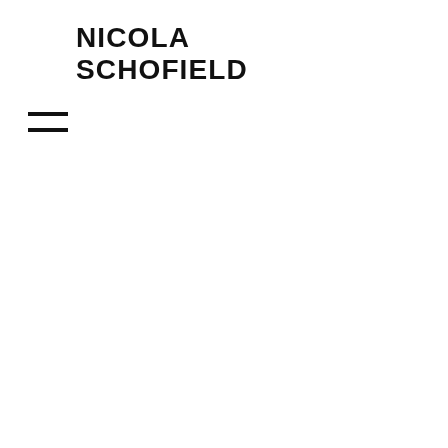NICOLA SCHOFIELD
[Figure (other): Hamburger menu icon — two horizontal black lines stacked vertically]